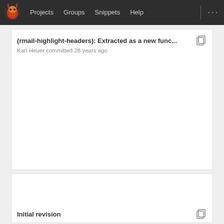Projects  Groups  Snippets  Help  ...
(rmail-highlight-headers): Extracted as a new func...
Karl Heuer committed 28 years ago
Initial revision